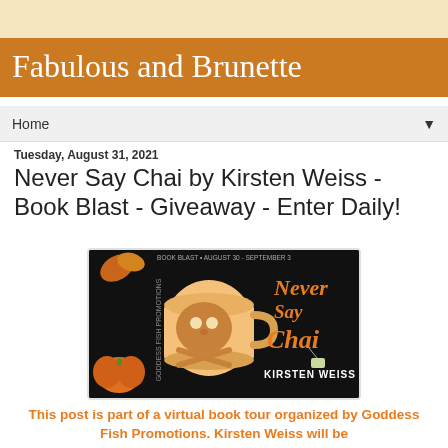Fabulous and Brunette
Home
Tuesday, August 31, 2021
Never Say Chai by Kirsten Weiss - Book Blast - Giveaway - Enter Daily!
[Figure (illustration): Book blast promotional banner for 'Never Say Chai' by Kirsten Weiss. Black background with orange pumpkins and autumn leaves. Center shows a white mug with a skull and crossbones design in latte art. Right side has orange calligraphic text 'Never Say Chai' with a tea bag tag, and 'KIRSTEN WEISS' in white. Top reads 'BOOK BLAST - AUGUST 30 - SEPTEMBER 3'. Left side has vertical text 'GODDESS FISH PROMOTIONS'.]
This post is part of a virtual book tour organized by Goddess Fish Promotions. Kirsten Weiss will be